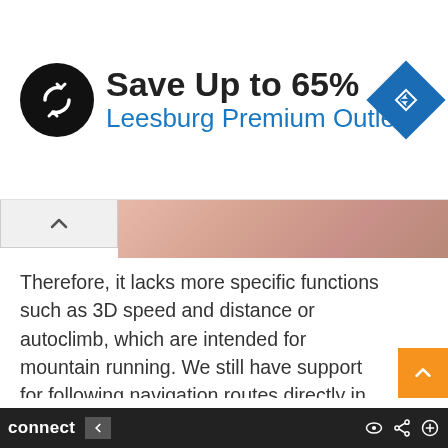[Figure (infographic): Advertisement banner: circular black logo with white arrows, 'Save Up to 65%' in bold black text, 'Leesburg Premium Outlets' in blue text, blue diamond navigation icon on right, small play and X icons on far left]
[Figure (photo): Partial photo strip showing skin tones, partially cropped]
Therefore, it lacks more specific functions such as 3D speed and distance or autoclimb, which are intended for mountain running. We still have support for following navigation routes directly in any sport profile without depending on external applications. As I have already indicated, there are some lesser options, such as the absence of the Sight N' Go function or being able to navigate to certain coordinates, but the basic function of being able to create a route from Garmin Connect (or recently, directly import it) is present.
connect